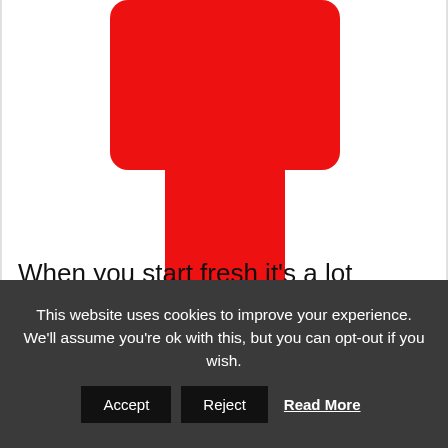[Figure (logo): Partial red logo on white background — left side shows a red cross/person-like shape, right side shows a red crescent moon shape]
When you start fresh it's a lot easier to look at the first moon you see and
This website uses cookies to improve your experience. We'll assume you're ok with this, but you can opt-out if you wish. Accept  Reject  Read More